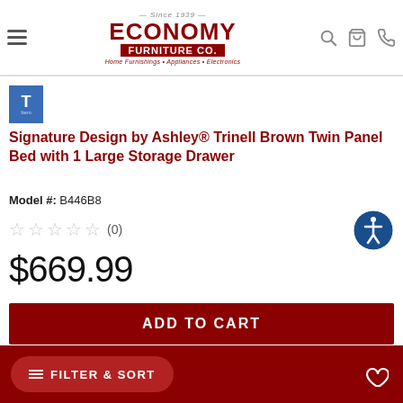Economy Furniture Co. — Since 1939 — Home Furnishings • Appliances • Electronics
Signature Design by Ashley® Trinell Brown Twin Panel Bed with 1 Large Storage Drawer
Model #: B446B8
★★★★★ (0)
$669.99
ADD TO CART
COMPARE
FILTER & SORT